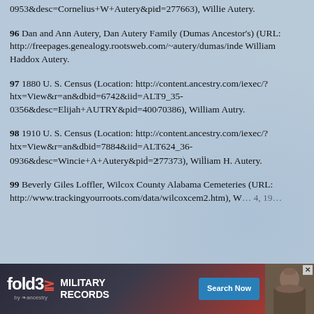0953&desc=Cornelius+W+Autery&pid=277663), Willie Autery.
96 Dan and Ann Autery, Dan Autery Family (Dumas Ancestor's) (URL: http://freepages.genealogy.rootsweb.com/~autery/dumas/inde William Haddox Autery.
97 1880 U. S. Census (Location: http://content.ancestry.com/iexec/?htx=View&r=an&dbid=6742&iid=ALT9_35-0356&desc=Elijah+AUTRY&pid=40070386), William Autry.
98 1910 U. S. Census (Location: http://content.ancestry.com/iexec/?htx=View&r=an&dbid=7884&iid=ALT624_36-0936&desc=Wincie+A+Autery&pid=277373), William H. Autery.
99 Beverly Giles Loffler, Wilcox County Alabama Cemeteries (URL: http://www.trackingyourroots.com/data/wilcoxcem2.htm), W[illiam H. Autery, born ...], 19[...]